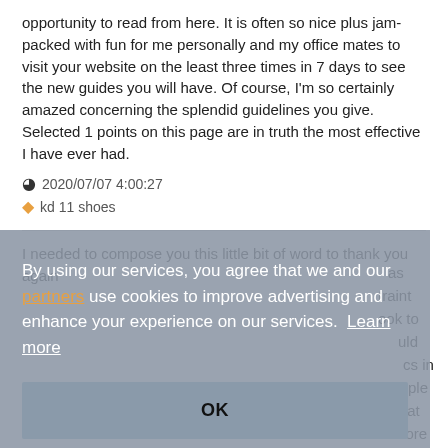opportunity to read from here. It is often so nice plus jam-packed with fun for me personally and my office mates to visit your website on the least three times in 7 days to see the new guides you will have. Of course, I'm so certainly amazed concerning the splendid guidelines you give. Selected 1 points on this page are in truth the most effective I have ever had.
2020/07/07 4:00:27
kd 11 shoes
I needed to compose you this little bit of word to thank you again
[Figure (screenshot): Cookie consent overlay with text: By using our services, you agree that we and our [partners] use cookies to improve advertising and enhance your experience on our services. Learn more. With an OK button.]
moncler outlet